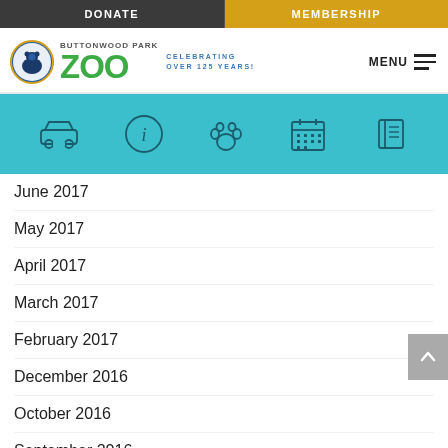DONATE | MEMBERSHIP
[Figure (logo): Buttonwood Park Zoo logo with circular emblem, green ZOO text, and blue celebrating over 125 years text]
[Figure (infographic): Teal navigation icon bar with car, info, paw print, calendar, and book icons]
June 2017
May 2017
April 2017
March 2017
February 2017
December 2016
October 2016
September 2016
August 2016